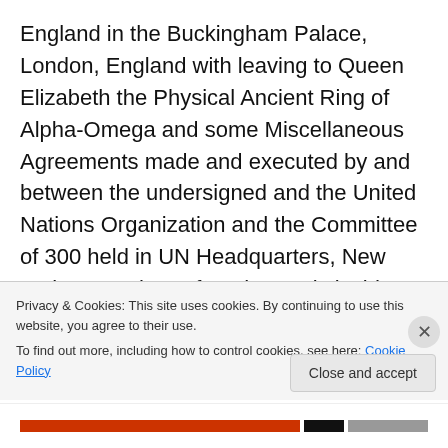England in the Buckingham Palace, London, England with leaving to Queen Elizabeth the Physical Ancient Ring of Alpha-Omega and some Miscellaneous Agreements made and executed by and between the undersigned and the United Nations Organization and the Committee of 300 held in UN Headquarters, New York, USA, thereafter, the tragic incident of the assassination of Sen. Benigno Aquino Jr. Some time on year 1983 was brought a storm of Presidency that caused the undersigned to leave post to Corazon Cojuangco Aquino, who won thru cheating and revolt
Privacy & Cookies: This site uses cookies. By continuing to use this website, you agree to their use. To find out more, including how to control cookies, see here: Cookie Policy
Close and accept